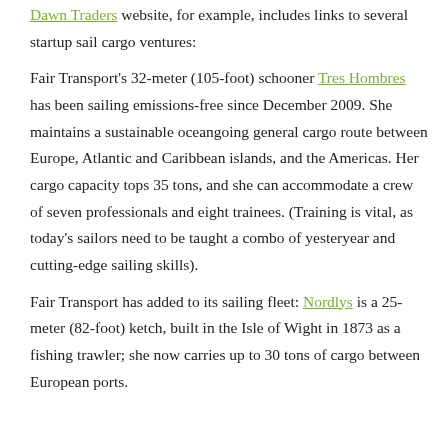Dawn Traders website, for example, includes links to several startup sail cargo ventures:
Fair Transport's 32-meter (105-foot) schooner Tres Hombres has been sailing emissions-free since December 2009. She maintains a sustainable oceangoing general cargo route between Europe, Atlantic and Caribbean islands, and the Americas. Her cargo capacity tops 35 tons, and she can accommodate a crew of seven professionals and eight trainees. (Training is vital, as today's sailors need to be taught a combo of yesteryear and cutting-edge sailing skills).
Fair Transport has added to its sailing fleet: Nordlys is a 25-meter (82-foot) ketch, built in the Isle of Wight in 1873 as a fishing trawler; she now carries up to 30 tons of cargo between European ports.